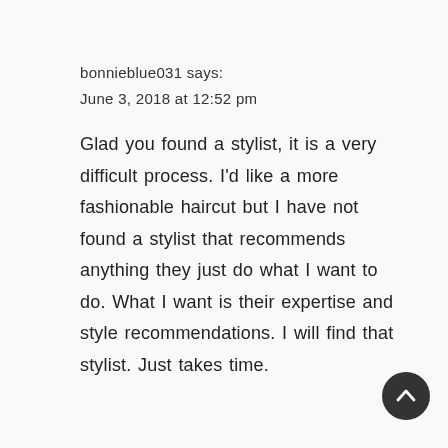bonnieblue031 says:
June 3, 2018 at 12:52 pm
Glad you found a stylist, it is a very difficult process. I'd like a more fashionable haircut but I have not found a stylist that recommends anything they just do what I want to do. What I want is their expertise and style recommendations. I will find that stylist. Just takes time.